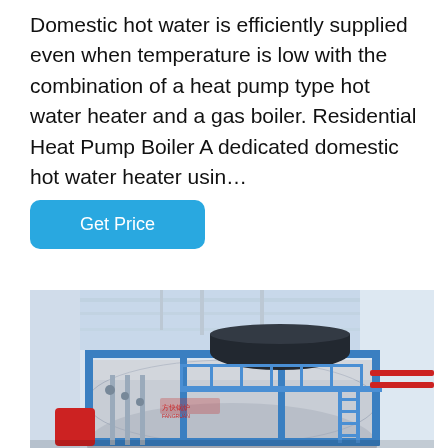Domestic hot water is efficiently supplied even when temperature is low with the combination of a heat pump type hot water heater and a gas boiler. Residential Heat Pump Boiler A dedicated domestic hot water heater usin…
[Figure (other): Button labeled 'Get Price' with blue rounded rectangle background]
[Figure (photo): Industrial gas boiler with blue steel frame, metallic cylindrical tank, red pipes, and ladders inside a white industrial building]